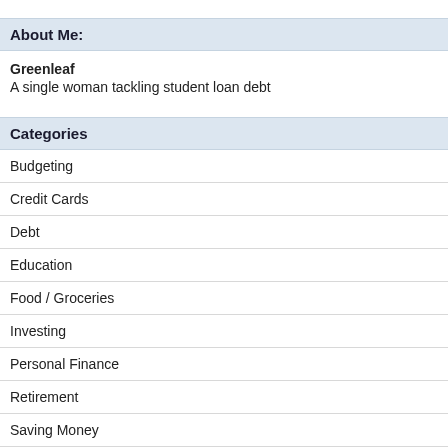About Me:
Greenleaf
A single woman tackling student loan debt
Categories
Budgeting
Credit Cards
Debt
Education
Food / Groceries
Investing
Personal Finance
Retirement
Saving Money
Shopping
Uncategorized
Archives